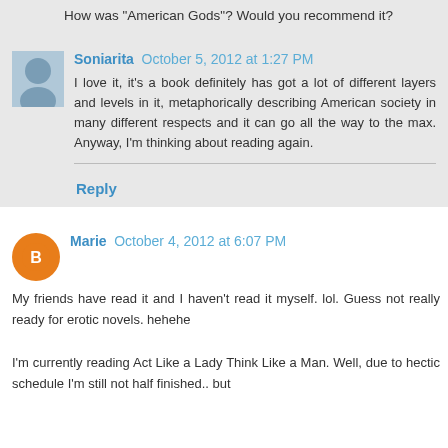How was "American Gods"? Would you recommend it?
Soniarita October 5, 2012 at 1:27 PM
I love it, it's a book definitely has got a lot of different layers and levels in it, metaphorically describing American society in many different respects and it can go all the way to the max. Anyway, I'm thinking about reading again.
Reply
Marie October 4, 2012 at 6:07 PM
My friends have read it and I haven't read it myself. lol. Guess not really ready for erotic novels. hehehe
I'm currently reading Act Like a Lady Think Like a Man. Well, due to hectic schedule I'm still not half finished.. but